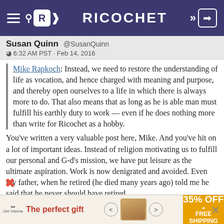RICOCHET
Susan Quinn @SusanQuinn
⊙ 6:32 AM PST · Feb 14, 2016
Mike Rapkoch: Instead, we need to restore the understanding of life as vocation, and hence charged with meaning and purpose, and thereby open ourselves to a life in which there is always more to do. That also means that as long as he is able man must fulfill his earthly duty to work — even if he does nothing more than write for Ricochet as a hobby.
You've written a very valuable post here, Mike. And you've hit on a lot of important ideas. Instead of religion motivating us to fulfill our personal and G-d's mission, we have put leisure as the ultimate aspiration. Work is now denigrated and avoided. Even my father, when he retired (he died many years ago) told me he said that he never should have retired…